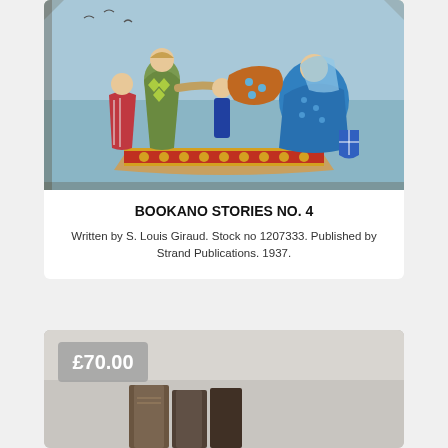[Figure (photo): Photo of the cover of Bookano Stories No. 4, showing a colorful illustrated scene with medieval-dressed figures on a boat, including a woman in blue and a man in red and green.]
BOOKANO STORIES NO. 4
Written by S. Louis Giraud. Stock no 1207333. Published by Strand Publications. 1937.
[Figure (photo): Partially visible photo of another book item with a price badge showing £70.00 in the top-left corner.]